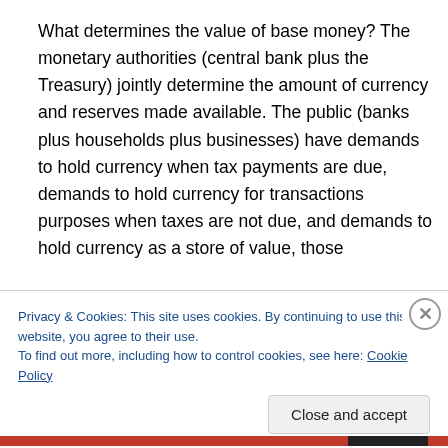What determines the value of base money? The monetary authorities (central bank plus the Treasury) jointly determine the amount of currency and reserves made available. The public (banks plus households plus businesses) have demands to hold currency when tax payments are due, demands to hold currency for transactions purposes when taxes are not due, and demands to hold currency as a store of value, those
Privacy & Cookies: This site uses cookies. By continuing to use this website, you agree to their use.
To find out more, including how to control cookies, see here: Cookie Policy
Close and accept